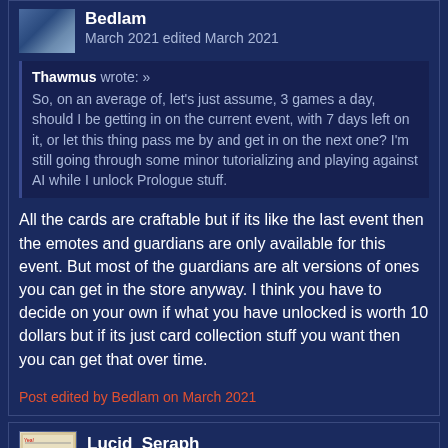Bedlam
March 2021 edited March 2021
Thawmus wrote: » So, on an average of, let's just assume, 3 games a day, should I be getting in on the current event, with 7 days left on it, or let this thing pass me by and get in on the next one? I'm still going through some minor tutorializing and playing against AI while I unlock Prologue stuff.
All the cards are craftable but if its like the last event then the emotes and guardians are only available for this event. But most of the guardians are alt versions of ones you can get in the store anyway. I think you have to decide on your own if what you have unlocked is worth 10 dollars but if its just card collection stuff you want then you can get that over time.
Post edited by Bedlam on March 2021
Lucid_Seraph